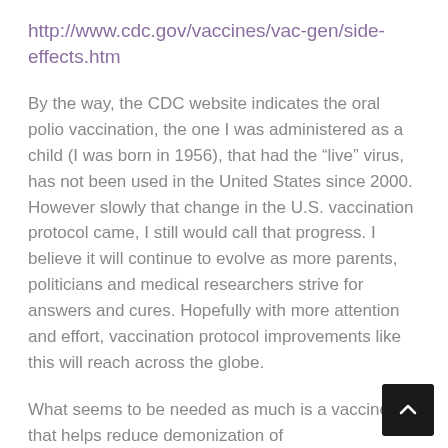http://www.cdc.gov/vaccines/vac-gen/side-effects.htm
By the way, the CDC website indicates the oral polio vaccination, the one I was administered as a child (I was born in 1956), that had the “live” virus, has not been used in the United States since 2000. However slowly that change in the U.S. vaccination protocol came, I still would call that progress. I believe it will continue to evolve as more parents, politicians and medical researchers strive for answers and cures. Hopefully with more attention and effort, vaccination protocol improvements like this will reach across the globe.
What seems to be needed as much is a vaccine that helps reduce demonization of